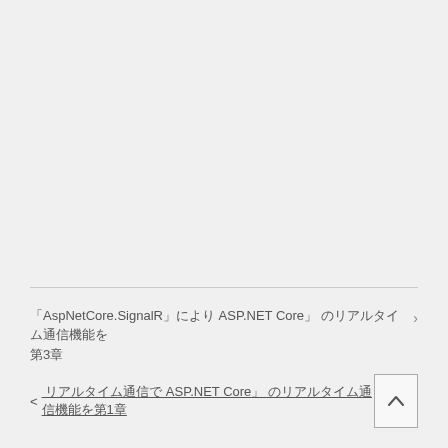「AspNetCore.SignalR」により ASP.NET Core」 のリアルタイム通信機能を 第3章  < リアルタイム通信で ASP.NET Core」 のリアルタイム通信機能を第1章